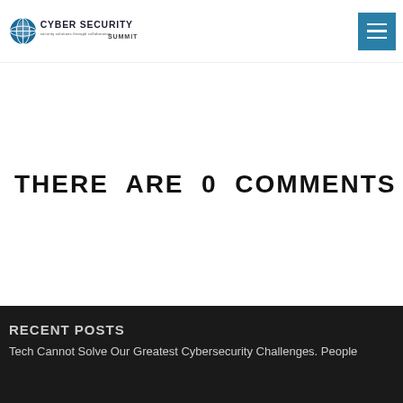Cyber Security Summit
THERE ARE 0 COMMENTS
RECENT POSTS
Tech Cannot Solve Our Greatest Cybersecurity Challenges. People